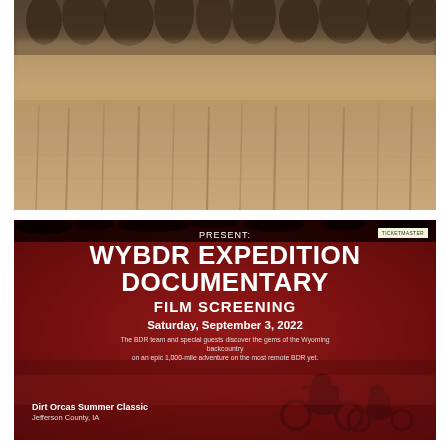[Figure (photo): Misty foggy lake or water landscape scene with trees silhouetted through thick brown-golden haze/fog, reflections visible in water below]
[Figure (infographic): Movie screening poster on dark red/crimson background with grungy texture. Contains text: PRESENT: WYBDR EXPEDITION DOCUMENTARY FILM SCREENING, Saturday September 3 2022, description of the BDR team documentary, Dirt Orcas Summer Classic, Jefferson County IA. Silhouette of motorcycle riders in background.]
PRESENT:
WYBDR EXPEDITION DOCUMENTARY
FILM SCREENING
Saturday, September 3, 2022
The BDR team and special guests discover the gems of the Wyoming backcountry on an epic 1,000-mile adventure on the most remote BDR yet.
Dirt Orcas Summer Classic
Jefferson County, IA